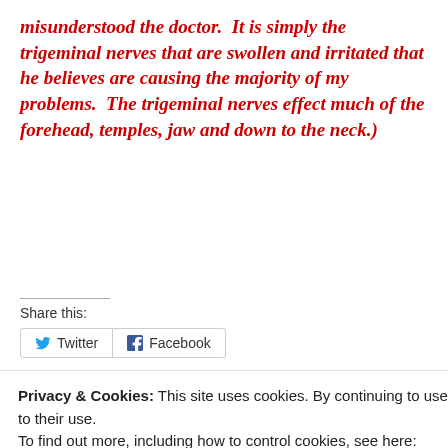misunderstood the doctor.  It is simply the trigeminal nerves that are swollen and irritated that he believes are causing the majority of my problems.  The trigeminal nerves effect much of the forehead, temples, jaw and down to the neck.)
Share this:
Twitter  Facebook
Privacy & Cookies: This site uses cookies. By continuing to use this website, you agree to their use.
To find out more, including how to control cookies, see here:
Cookie Policy
Close and accept